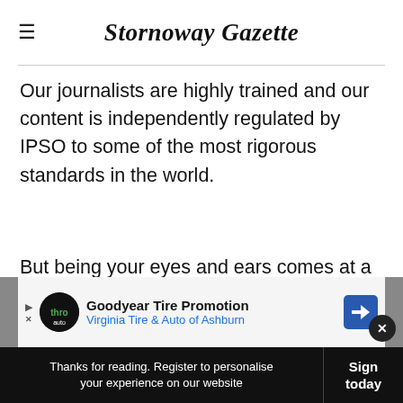≡  Stornoway Gazette
Our journalists are highly trained and our content is independently regulated by IPSO to some of the most rigorous standards in the world.
But being your eyes and ears comes at a price. So we need your support more than ever to buy our newspapers during this crisis.
[Figure (other): Advertisement banner: Goodyear Tire Promotion - Virginia Tire & Auto of Ashburn]
Thanks for reading. Register to personalise your experience on our website | Sign in today